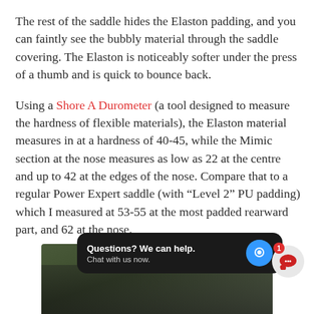The rest of the saddle hides the Elaston padding, and you can faintly see the bubbly material through the saddle covering. The Elaston is noticeably softer under the press of a thumb and is quick to bounce back.
Using a Shore A Durometer (a tool designed to measure the hardness of flexible materials), the Elaston material measures in at a hardness of 40-45, while the Mimic section at the nose measures as low as 22 at the centre and up to 42 at the edges of the nose. Compare that to a regular Power Expert saddle (with “Level 2” PU padding) which I measured at 53-55 at the most padded rearward part, and 62 at the nose.
[Figure (screenshot): A chat support widget overlay showing 'Questions? We can help. Chat with us now.' with a blue chat icon button, overlaid on a partially visible photo background. A notification badge with red '1' and grey speech bubble icon is visible in the bottom right.]